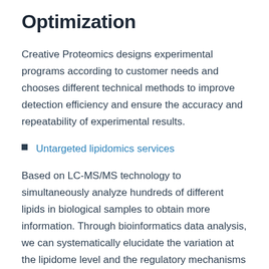Optimization
Creative Proteomics designs experimental programs according to customer needs and chooses different technical methods to improve detection efficiency and ensure the accuracy and repeatability of experimental results.
Untargeted lipidomics services
Based on LC-MS/MS technology to simultaneously analyze hundreds of different lipids in biological samples to obtain more information. Through bioinformatics data analysis, we can systematically elucidate the variation at the lipidome level and the regulatory mechanisms in the experimental group